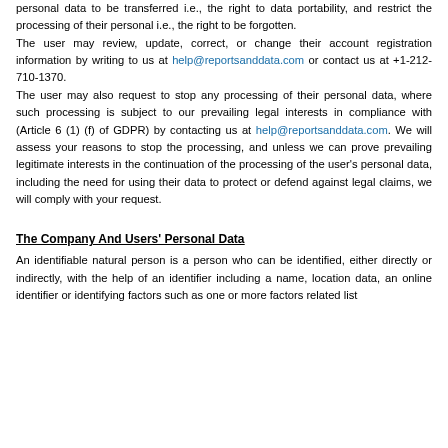personal data to be transferred i.e., the right to data portability, and restrict the processing of their personal i.e., the right to be forgotten.
The user may review, update, correct, or change their account registration information by writing to us at help@reportsanddata.com or contact us at +1-212-710-1370.
The user may also request to stop any processing of their personal data, where such processing is subject to our prevailing legal interests in compliance with (Article 6 (1) (f) of GDPR) by contacting us at help@reportsanddata.com. We will assess your reasons to stop the processing, and unless we can prove prevailing legitimate interests in the continuation of the processing of the user's personal data, including the need for using their data to protect or defend against legal claims, we will comply with your request.
The Company And Users' Personal Data
An identifiable natural person is a person who can be identified, either directly or indirectly, with the help of an identifier including a name, location data, an online identifier or identifying factors such as one or more factors related list